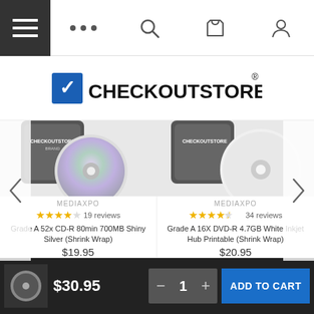Navigation bar with hamburger menu, dots, search, cart, and user icons
[Figure (logo): CheckOutStore logo with blue checkmark icon and bold text CHECKOUTSTORE with registered trademark symbol]
[Figure (photo): Left product: CD-R disc on spindle stack - Grade A 52x CD-R 80min 700MB Shiny Silver (Shrink Wrap)]
MEDIAXPO
★★★★☆ 19 reviews
Grade A 52x CD-R 80min 700MB Shiny Silver (Shrink Wrap)
$19.95
[Figure (photo): Right product: DVD-R white printable disc on spindle stack - Grade A 16X DVD-R 4.7GB White Inkjet Hub Printable (Shrink Wrap)]
MEDIAXPO
★★★★½ 34 reviews
Grade A 16X DVD-R 4.7GB White Inkjet Hub Printable (Shrink Wrap)
$20.95
$30.95  — 1 +  ADD TO CART